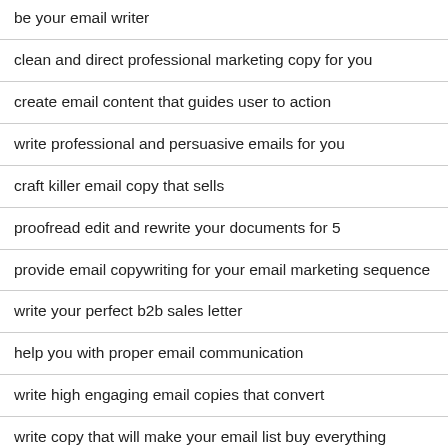be your email writer
clean and direct professional marketing copy for you
create email content that guides user to action
write professional and persuasive emails for you
craft killer email copy that sells
proofread edit and rewrite your documents for 5
provide email copywriting for your email marketing sequence
write your perfect b2b sales letter
help you with proper email communication
write high engaging email copies that convert
write copy that will make your email list buy everything